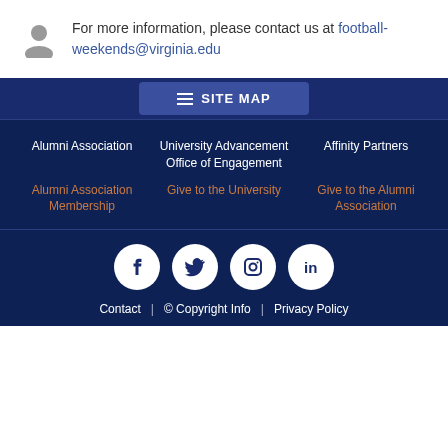For more information, please contact us at football-weekends@virginia.edu
SITE MAP
Alumni Association
University Advancement Office of Engagement
Affinity Partners
Alumni Association Membership
Give to the University
Give to the Alumni Association
[Figure (infographic): Social media icons: Facebook, Twitter, Instagram, LinkedIn]
Contact | © Copyright Info | Privacy Policy